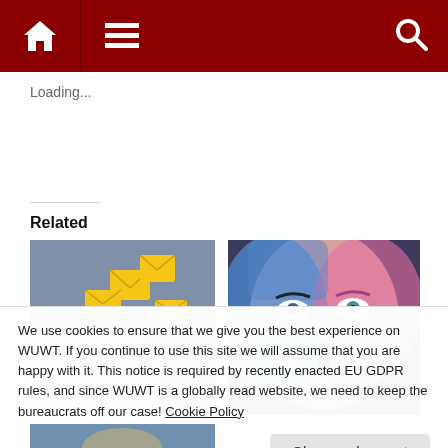Navigation bar with home, menu, and search icons
Loading...
Related
[Figure (photo): Hand holding a tablet with yellow email envelope icons floating above it, blurred blue background]
[Figure (photo): Close-up of a woman's face with colorful blue, pink and red artistic body paint and a butterfly covering her nose and lower face]
We use cookies to ensure that we give you the best experience on WUWT. If you continue to use this site we will assume that you are happy with it. This notice is required by recently enacted EU GDPR rules, and since WUWT is a globally read website, we need to keep the bureaucrats off our case! Cookie Policy
Close and accept